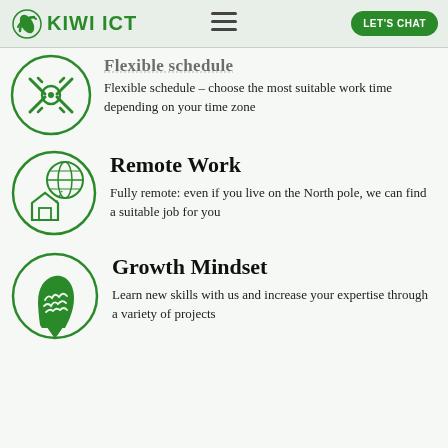KIWI ICT — LET'S CHAT
[Figure (illustration): Green circle icon with crossed tools and gear (flexible schedule icon), partially visible at top]
Flexible schedule
Flexible schedule – choose the most suitable work time depending on your time zone
[Figure (illustration): Green circle icon with house and globe connected by dotted lines (remote work icon)]
Remote Work
Fully remote: even if you live on the North pole, we can find a suitable job for you
[Figure (illustration): Green circle icon with human head silhouette and brain (growth mindset icon)]
Growth Mindset
Learn new skills with us and increase your expertise through a variety of projects